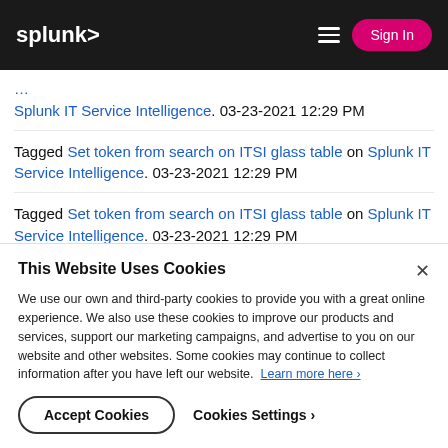splunk> | Sign In
Tagged Set token from search on ITSI glass table on Splunk IT Service Intelligence. 03-23-2021 12:29 PM
Tagged Set token from search on ITSI glass table on Splunk IT Service Intelligence. 03-23-2021 12:29 PM
This Website Uses Cookies
We use our own and third-party cookies to provide you with a great online experience. We also use these cookies to improve our products and services, support our marketing campaigns, and advertise to you on our website and other websites. Some cookies may continue to collect information after you have left our website. Learn more here ›
Accept Cookies    Cookies Settings ›